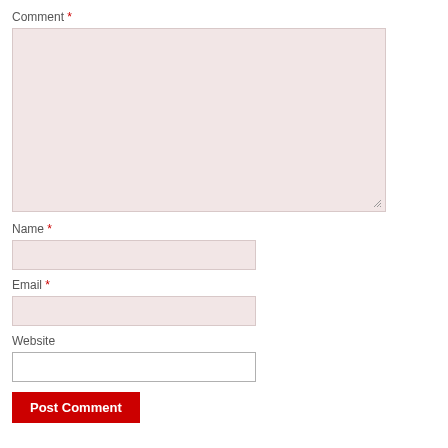Comment *
[Figure (screenshot): Large comment textarea with pinkish background]
Name *
[Figure (screenshot): Name input field with pinkish background]
Email *
[Figure (screenshot): Email input field with pinkish background]
Website
[Figure (screenshot): Website input field with white background]
Post Comment